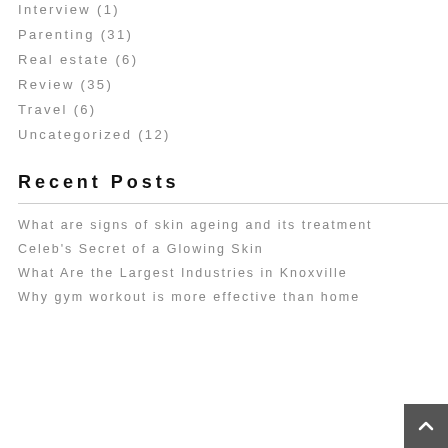Interview (1)
Parenting (31)
Real estate (6)
Review (35)
Travel (6)
Uncategorized (12)
Recent Posts
What are signs of skin ageing and its treatment
Celeb's Secret of a Glowing Skin
What Are the Largest Industries in Knoxville
Why gym workout is more effective than home workout